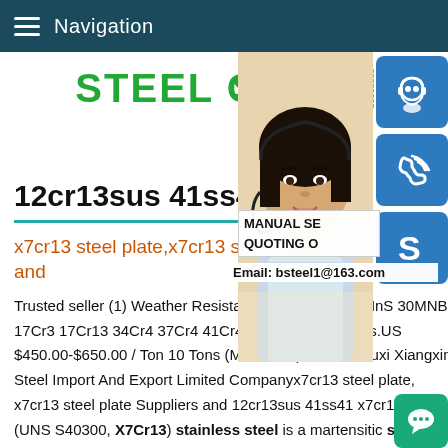Navigation
STEEL GR[oup]
12cr13sus 41ss41 x7c[r13]
x7cr13 steel plate,x7cr13 stee[l plate Suppliers] and
Trusted seller (1) Weather Resistant steel 20MnS 20MnS 30MNBS 17Cr3 17Cr13 34Cr4 37Cr4 41Cr4 ukraine steel plates.US $450.00-$650.00 / Ton 10 Tons (Min.Order) 5 YRS .Wuxi Xiangxin Steel Import And Export Limited Companyx7cr13 steel plate, x7cr13 steel plate Suppliers and 12cr13sus 41ss41 x7cr13AIS (UNS S40300, X7Cr13) stainless steel is a martensitic stainl[ess]
[Figure (photo): Customer service representative woman with headset, with blue icon buttons for chat, phone, and Skype overlaid on the right side]
MANUAL SE[RVICE] QUOTING O[NLINE]
Email: bsteel1@163.com